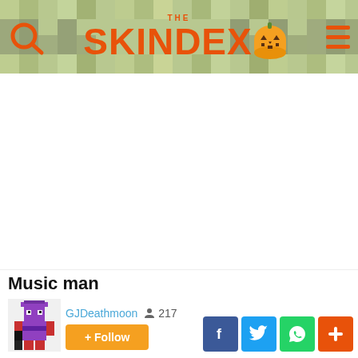THE SKINDEX
Music man
GJDeathmoon  217
+ Follow